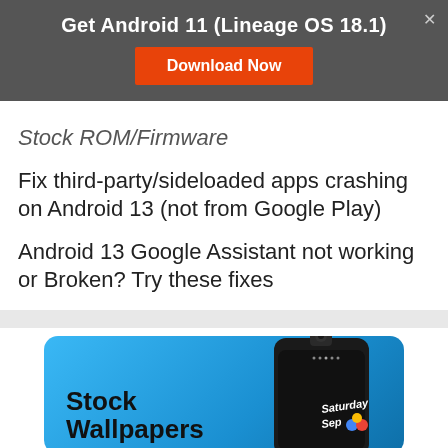Get Android 11 (Lineage OS 18.1)
Download Now
Stock ROM/Firmware
Fix third-party/sideloaded apps crashing on Android 13 (not from Google Play)
Android 13 Google Assistant not working or Broken? Try these fixes
[Figure (photo): A smartphone with pop-up camera on a blue gradient background with 'Stock Wallpapers' text and phone screen showing 'Saturday Sep']